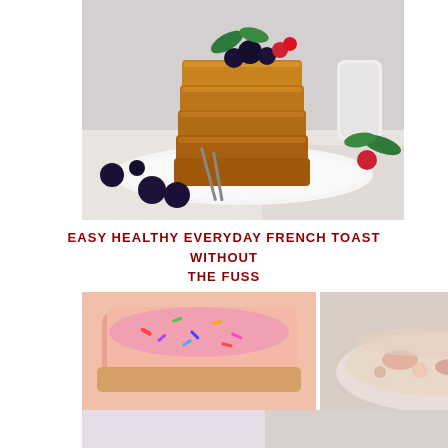[Figure (photo): Stack of golden French toast slices topped with blueberries, raspberries, and mint leaves on a white plate with a fork, surrounded by scattered blueberries on a white marble surface]
EASY HEALTHY EVERYDAY FRENCH TOAST WITHOUT THE FUSS
[Figure (photo): Close-up of a pink frosted pastry with colorful sprinkles]
[Figure (photo): Bowl of creamy soup or stew with visible ingredients]
[Figure (photo): Partial view of a dessert or food item at bottom of page]